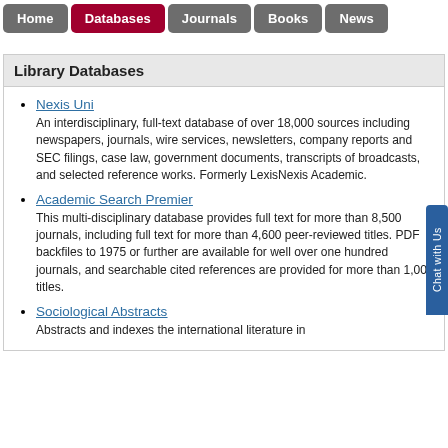Home | Databases | Journals | Books | News
Library Databases
Nexis Uni
An interdisciplinary, full-text database of over 18,000 sources including newspapers, journals, wire services, newsletters, company reports and SEC filings, case law, government documents, transcripts of broadcasts, and selected reference works. Formerly LexisNexis Academic.
Academic Search Premier
This multi-disciplinary database provides full text for more than 8,500 journals, including full text for more than 4,600 peer-reviewed titles. PDF backfiles to 1975 or further are available for well over one hundred journals, and searchable cited references are provided for more than 1,000 titles.
Sociological Abstracts
Abstracts and indexes the international literature in